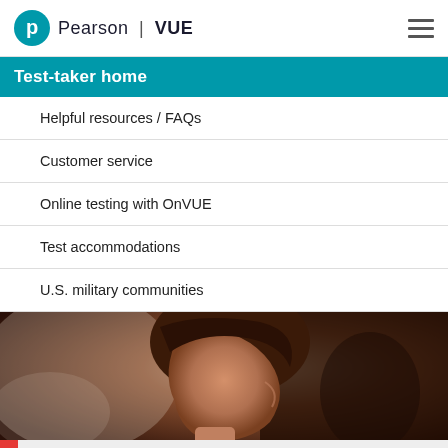Pearson | VUE
Test-taker home
Helpful resources / FAQs
Customer service
Online testing with OnVUE
Test accommodations
U.S. military communities
[Figure (photo): Close-up side profile photo of a person with brown hair, blurred background, warm tones]